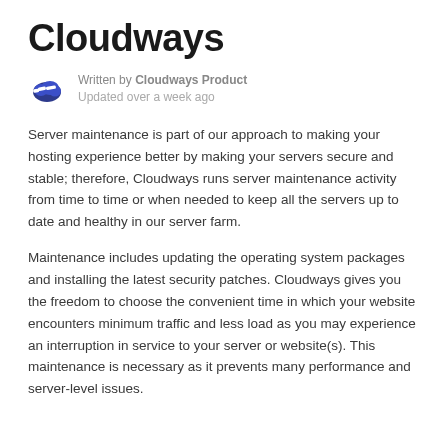Cloudways
Written by Cloudways Product
Updated over a week ago
Server maintenance is part of our approach to making your hosting experience better by making your servers secure and stable; therefore, Cloudways runs server maintenance activity from time to time or when needed to keep all the servers up to date and healthy in our server farm.
Maintenance includes updating the operating system packages and installing the latest security patches. Cloudways gives you the freedom to choose the convenient time in which your website encounters minimum traffic and less load as you may experience an interruption in service to your server or website(s). This maintenance is necessary as it prevents many performance and server-level issues.